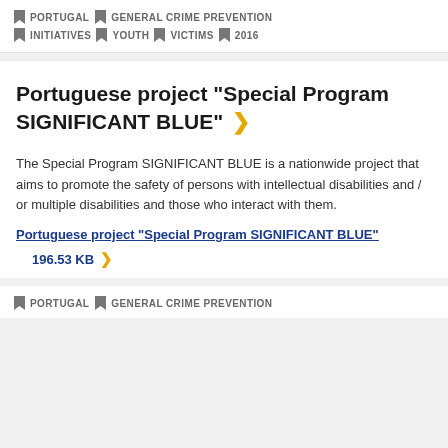PORTUGAL  GENERAL CRIME PREVENTION  INITIATIVES  YOUTH  VICTIMS  2016
Portuguese project "Special Program SIGNIFICANT BLUE"
The Special Program SIGNIFICANT BLUE is a nationwide project that aims to promote the safety of persons with intellectual disabilities and / or multiple disabilities and those who interact with them.
Portuguese project "Special Program SIGNIFICANT BLUE"  196.53 KB
PORTUGAL  GENERAL CRIME PREVENTION